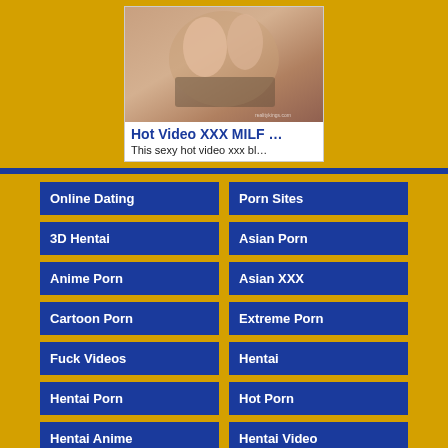[Figure (photo): Thumbnail image of adult content with watermark realitykings.com]
Hot Video XXX MILF …
This sexy hot video xxx bl…
Online Dating
Porn Sites
3D Hentai
Asian Porn
Anime Porn
Asian XXX
Cartoon Porn
Extreme Porn
Fuck Videos
Hentai
Hentai Porn
Hot Porn
Hentai Anime
Hentai Video
Hentai Movie
Hentai Sex
Japan Porn
Milf Porn